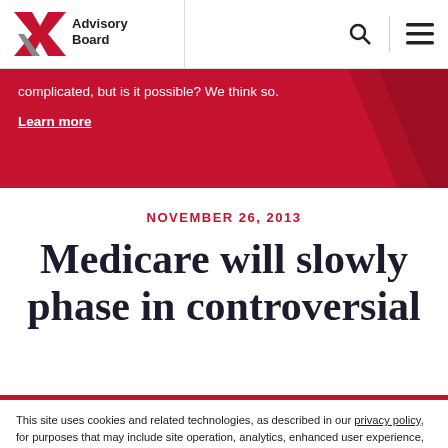Advisory Board
complicated, but is it possible? We think so. Learn more
NOVEMBER 26, 2013
Medicare will slowly phase in controversial
This site uses cookies and related technologies, as described in our privacy policy, for purposes that may include site operation, analytics, enhanced user experience, or advertising. You may choose to consent to our use of these technologies, or manage your own preferences.
Manage Preferences | Accept All